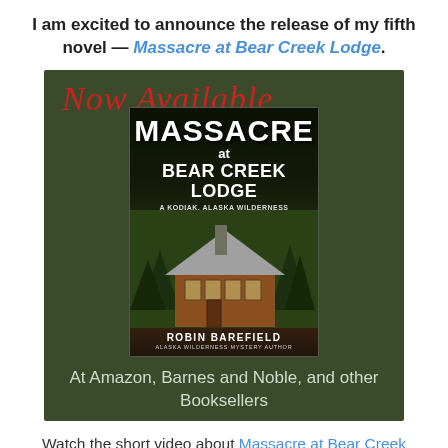I am excited to announce the release of my fifth novel — Massacre at Bear Creek Lodge.
[Figure (illustration): Dark olive green background book announcement image. Cursive red text 'Now Available' at top left. Book cover for 'Massacre at Bear Creek Lodge' by Robin Barefield with subtitle 'A Kodiak, Alaska Wilderness Mystery Novel' showing a log cabin. Text at bottom: 'At Amazon, Barnes and Noble, and other Booksellers']
Watch the short video about Massacre at Bear Creek Lodge.